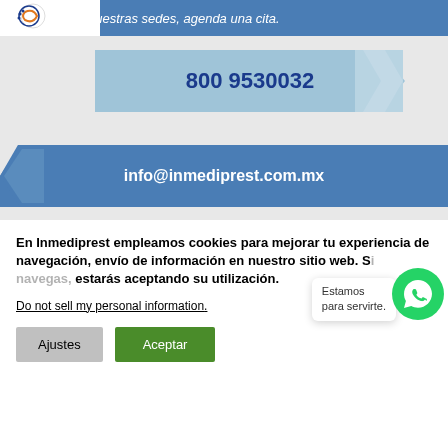de nuestras sedes, agenda una cita.
800 9530032
info@inmediprest.com.mx
En Inmediprest empleamos cookies para mejorar tu experiencia de navegación, envío de información en nuestro sitio web. Si navegas, estarás aceptando su utilización.
Do not sell my personal information.
Ajustes
Aceptar
Estamos para servirte.